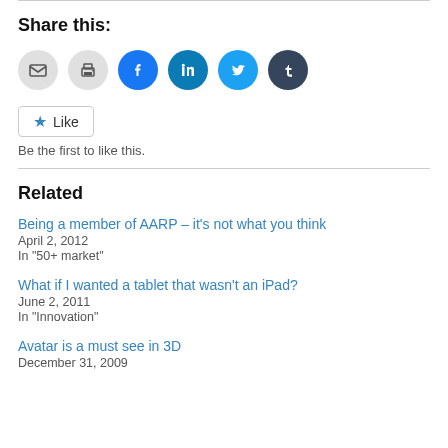Share this:
[Figure (other): Row of social sharing icon buttons: email (grey circle), print (grey circle), Facebook (blue circle), LinkedIn (teal circle), Twitter (light blue circle), Tumblr (dark navy circle)]
Like  Be the first to like this.
Related
Being a member of AARP – it's not what you think
April 2, 2012
In "50+ market"
What if I wanted a tablet that wasn't an iPad?
June 2, 2011
In "Innovation"
Avatar is a must see in 3D
December 31, 2009